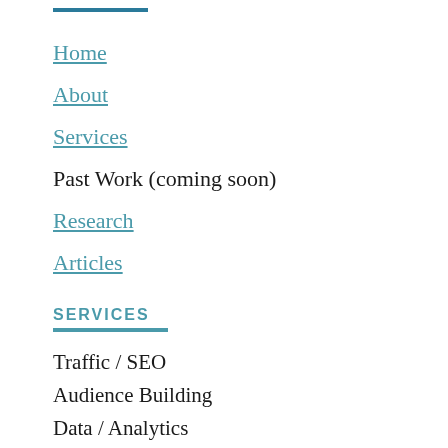Home
About
Services
Past Work (coming soon)
Research
Articles
SERVICES
Traffic / SEO
Audience Building
Data / Analytics
RECENT ARTICLES